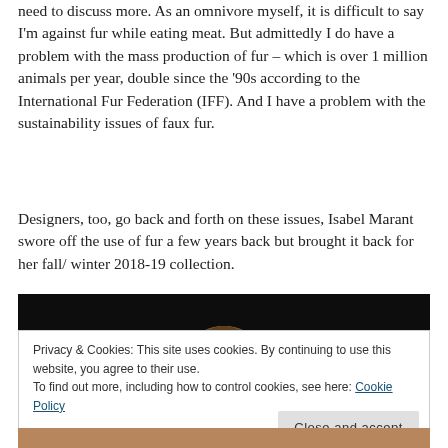need to discuss more. As an omnivore myself, it is difficult to say I'm against fur while eating meat. But admittedly I do have a problem with the mass production of fur – which is over 1 million animals per year, double since the '90s according to the International Fur Federation (IFF). And I have a problem with the sustainability issues of faux fur.
Designers, too, go back and forth on these issues, Isabel Marant swore off the use of fur a few years back but brought it back for her fall/ winter 2018-19 collection.
[Figure (photo): Photo of a model with hair visible against a dark background, partially obscured by a cookie consent banner]
Privacy & Cookies: This site uses cookies. By continuing to use this website, you agree to their use.
To find out more, including how to control cookies, see here: Cookie Policy
Close and accept